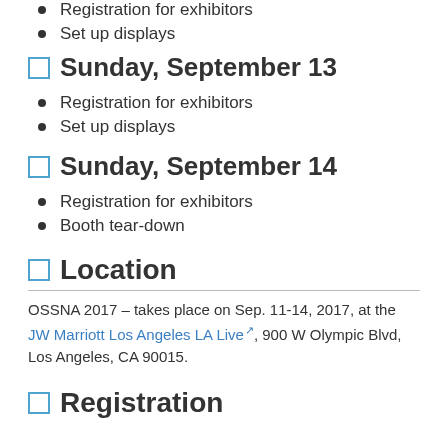Registration for exhibitors
Set up displays
Sunday, September 13
Registration for exhibitors
Set up displays
Sunday, September 14
Registration for exhibitors
Booth tear-down
Location
OSSNA 2017 – takes place on Sep. 11-14, 2017, at the JW Marriott Los Angeles LA Live, 900 W Olympic Blvd, Los Angeles, CA 90015.
Registration